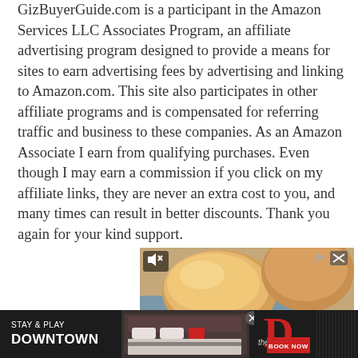GizBuyerGuide.com is a participant in the Amazon Services LLC Associates Program, an affiliate advertising program designed to provide a means for sites to earn advertising fees by advertising and linking to Amazon.com. This site also participates in other affiliate programs and is compensated for referring traffic and business to these companies. As an Amazon Associate I earn from qualifying purchases. Even though I may earn a commission if you click on my affiliate links, they are never an extra cost to you, and many times can result in better discounts. Thank you again for your kind support.
[Figure (photo): Food advertisement showing bread rolls and fried chicken on a plate, with mute and close controls visible in the top corners.]
[Figure (photo): Hotel advertisement banner for 'The D Las Vegas' with text 'STAY & PLAY DOWNTOWN', showing a hotel room image with red accents and a 'BOOK NOW' button.]